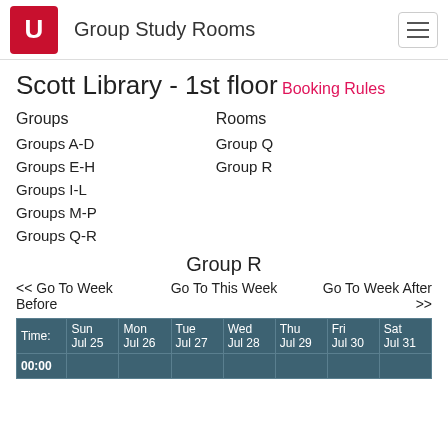Group Study Rooms
Scott Library - 1st floor
Booking Rules
| Groups | Rooms |
| --- | --- |
| Groups A-D | Group Q |
| Groups E-H | Group R |
| Groups I-L |  |
| Groups M-P |  |
| Groups Q-R |  |
Group R
<< Go To Week Before    Go To This Week    Go To Week After >>
| Time: | Sun Jul 25 | Mon Jul 26 | Tue Jul 27 | Wed Jul 28 | Thu Jul 29 | Fri Jul 30 | Sat Jul 31 |
| --- | --- | --- | --- | --- | --- | --- | --- |
| 00:00 |  |  |  |  |  |  |  |